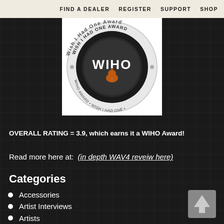FIND A DEALER   REGISTER   SUPPORT   SHOP
[Figure (logo): WIHO Award badge — circular seal with guitar graphic and text 'WIHO Wish I Had One Award' on a white background]
OVERALL RATING = 3.9, which earns it a WIHO Award!
Read more here at:  (in depth WAV4 reveiw here)
Categories
Accessories
Artist Interviews
Artists
Awards